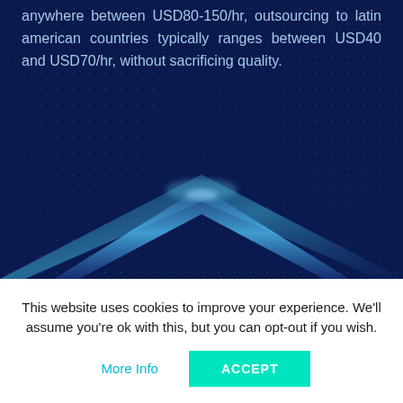anywhere between USD80-150/hr, outsourcing to latin american countries typically ranges between USD40 and USD70/hr, without sacrificing quality.
[Figure (illustration): Dark navy blue background with a glowing upward-pointing arrow/chevron shape in blue and teal gradient tones, centered in the lower portion of the dark section.]
This website uses cookies to improve your experience. We'll assume you're ok with this, but you can opt-out if you wish.
More Info
ACCEPT